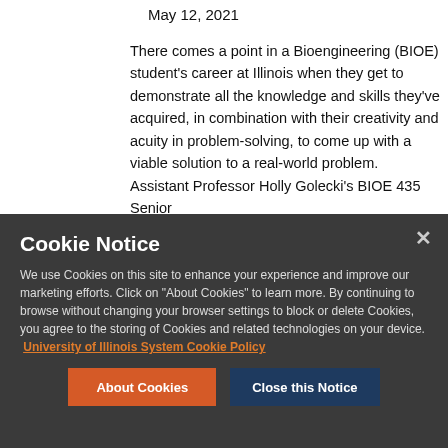May 12, 2021
There comes a point in a Bioengineering (BIOE) student's career at Illinois when they get to demonstrate all the knowledge and skills they've acquired, in combination with their creativity and acuity in problem-solving, to come up with a viable solution to a real-world problem. Assistant Professor Holly Golecki's BIOE 435 Senior
Cookie Notice
We use Cookies on this site to enhance your experience and improve our marketing efforts. Click on "About Cookies" to learn more. By continuing to browse without changing your browser settings to block or delete Cookies, you agree to the storing of Cookies and related technologies on your device. University of Illinois System Cookie Policy